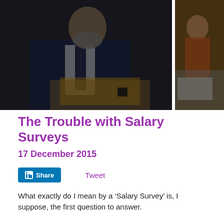[Figure (photo): Two photos side by side: left shows a bearded businessman in a dark suit with a tie holding a folder/tablet, right shows a smiling woman at a desk. Both images have a dark overlay.]
The Trouble with Salary Surveys
17 December 2015
Share   Tweet
What exactly do I mean by a ‘Salary Survey’ is, I suppose, the first question to answer.